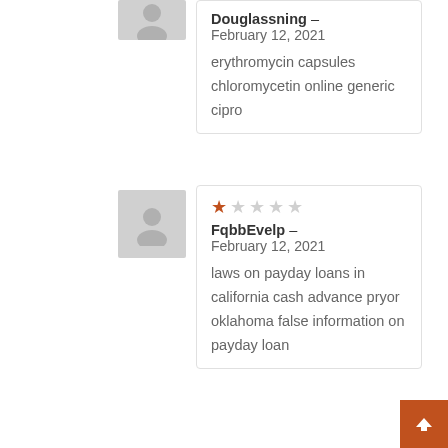Douglassning – February 12, 2021
erythromycin capsules chloromycetin online generic cipro
[Figure (illustration): Grey avatar/user profile placeholder icon]
FqbbEvelp – February 12, 2021
laws on payday loans in california cash advance pryor oklahoma false information on payday loan
[Figure (illustration): Grey avatar/user profile placeholder icon]
[Figure (other): Star rating: 1 out of 5 stars (1 filled orange star, 4 empty stars)]